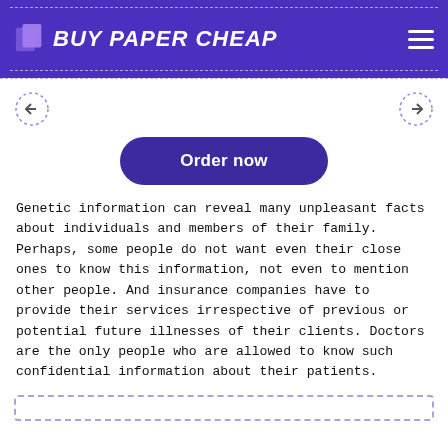BUY PAPER CHEAP
[Figure (logo): Buy Paper Cheap logo with navigation arrows and Order now button]
Genetic information can reveal many unpleasant facts about individuals and members of their family. Perhaps, some people do not want even their close ones to know this information, not even to mention other people. And insurance companies have to provide their services irrespective of previous or potential future illnesses of their clients. Doctors are the only people who are allowed to know such confidential information about their patients.